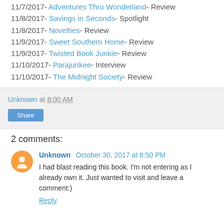11/7/2017- Adventures Thru Wonderland- Review
11/8/2017- Savings in Seconds- Spotlight
11/8/2017- Novelties- Review
11/9/2017- Sweet Southern Home- Review
11/9/2017- Twisted Book Junkie- Review
11/10/2017- Parajunkee- Interview
11/10/2017- The Midnight Society- Review
Unknown at 8:00 AM
Share
2 comments:
Unknown October 30, 2017 at 8:50 PM
I had blast reading this book. I'm not entering as I already own it. Just wanted to visit and leave a comment:)
Reply